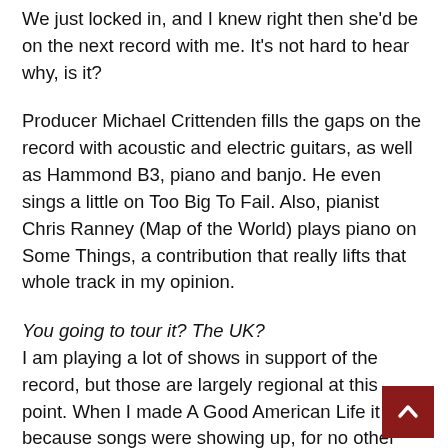We just locked in, and I knew right then she'd be on the next record with me. It's not hard to hear why, is it?
Producer Michael Crittenden fills the gaps on the record with acoustic and electric guitars, as well as Hammond B3, piano and banjo. He even sings a little on Too Big To Fail. Also, pianist Chris Ranney (Map of the World) plays piano on Some Things, a contribution that really lifts that whole track in my opinion.
You going to tour it? The UK? I am playing a lot of shows in support of the record, but those are largely regional at this point. When I made A Good American Life it was because songs were showing up, for no other reason- it just felt like the thing to do. However, the record was not released in the United States, it was only released in the UK, and it only got released in the UK because a diligent promoter happened to see it on a distributor's list and give it a listen. He liked what he heard, so he reached to me. Basically, had it not been for blind luck, the record would never have been heard in the UK or likely anywhere. So